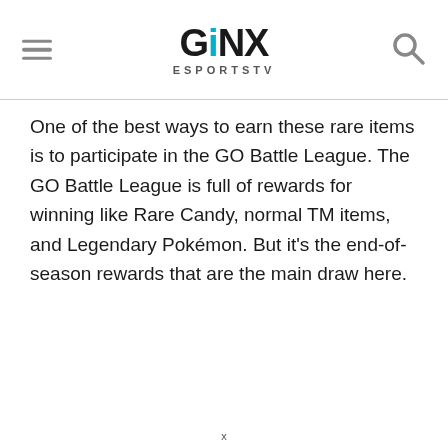GINX ESPORTSTV
One of the best ways to earn these rare items is to participate in the GO Battle League. The GO Battle League is full of rewards for winning like Rare Candy, normal TM items, and Legendary Pokémon. But it's the end-of-season rewards that are the main draw here.
x